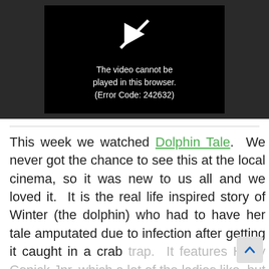[Figure (screenshot): Video player showing error message: 'The video cannot be played in this browser. (Error Code: 242632)' with a crossed-out play icon on black background, embedded in a dark gray container.]
This week we watched Dolphin Tale.  We never got the chance to see this at the local cinema, so it was new to us all and we loved it.  It is the real life inspired story of Winter (the dolphin) who had to have her tale amputated due to infection after getting it caught in a crab trap.  It features Harry Conick Jnr, which a lot of the ladies like, but I have to admit that I th